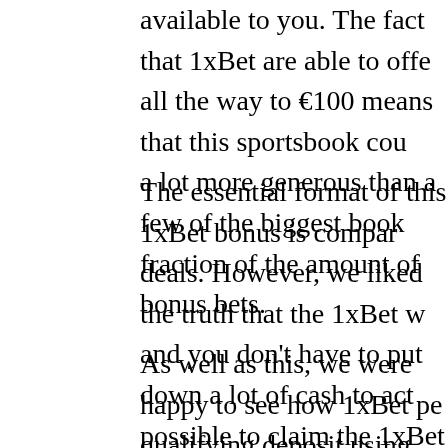also A small is comparing them to some of the more available to you. The fact that 1xBet are able to offer all the way to €100 means that this sportsbook could be a lot more generous than a few of the biggest bookmakers fraction of the amount of bonus bets.
The essential format of this 1xBet bonus is comparable to other deals. However, we liked the truth that the 1xBet welcome offer and you don't have to put down a lot of cash to activate it. It is possible to claim the 1xBet bonus with a preliminary deposit, which can be significantly less than other welcome offers. You do need to put down at least €10 first.
As well as this, we were happy to see how 1xBet permits you to make a qualifying deposit using their full selection of payment methods. This is a marked contrast to other special offers that frequently exclude e-wallets like Neteller or Skrill to claim a sign-up bonus.